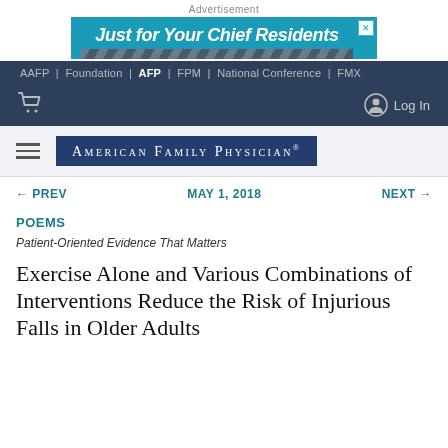[Figure (screenshot): Advertisement banner reading 'Just for Your Chief Residents' with teal/blue background and decorative geometric bottom strip]
AAFP | Foundation | AFP | FPM | National Conference | FMX
Log In (with cart and user icons)
[Figure (logo): American Family Physician logo in dark blue rectangle with serif font]
← PREV   MAY 1, 2018   NEXT →
POEMS
Patient-Oriented Evidence That Matters
Exercise Alone and Various Combinations of Interventions Reduce the Risk of Injurious Falls in Older Adults